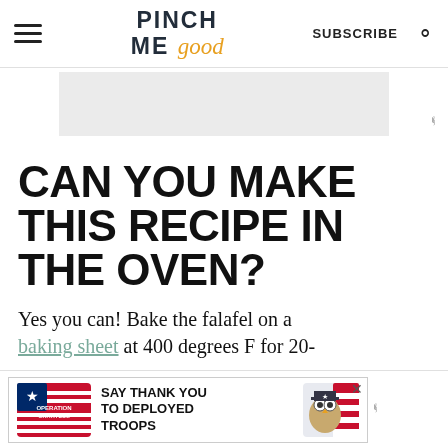PINCH ME good — SUBSCRIBE (search icon)
[Figure (other): Gray advertisement placeholder banner]
CAN YOU MAKE THIS RECIPE IN THE OVEN?
Yes you can! Bake the falafel on a baking sheet at 400 degrees F for 20-
[Figure (other): Operation Gratitude advertisement banner reading SAY THANK YOU TO DEPLOYED TROOPS]